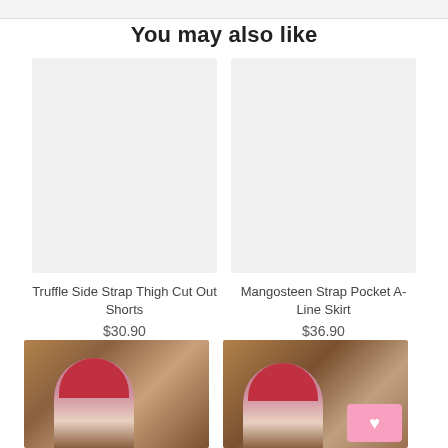You may also like
[Figure (photo): Product placeholder image for Truffle Side Strap Thigh Cut Out Shorts - light gray placeholder]
Truffle Side Strap Thigh Cut Out Shorts
$30.90
★★★★★ 214 reviews
[Figure (photo): Product placeholder image for Mangosteen Strap Pocket A-Line Skirt - light gray placeholder]
Mangosteen Strap Pocket A-Line Skirt
$36.90
★★★★★ 28 reviews
[Figure (photo): Photo of model with red hair wearing product - bottom left]
[Figure (photo): Photo of model with red hair wearing product - bottom right, with pink wishlist heart button overlay]